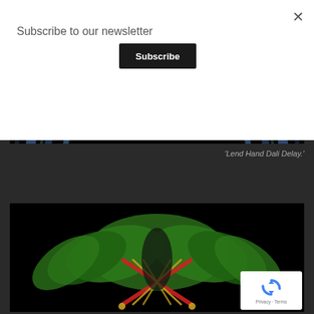Subscribe to our newsletter
Subscribe
[Figure (photo): Partial circular abstract image with blue arcs and red element on black background]
'Lend Hand Dali Delay.'
[Figure (photo): Symmetrical artistic arrangement of green leaves with red and yellow crossed sticks on black background]
Privacy · Terms